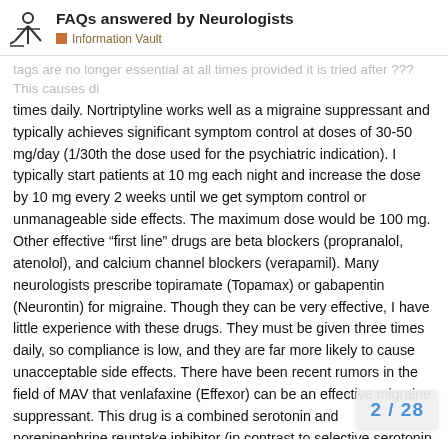FAQs answered by Neurologists — Information Vault
times daily. Nortriptyline works well as a migraine suppressant and typically achieves significant symptom control at doses of 30-50 mg/day (1/30th the dose used for the psychiatric indication). I typically start patients at 10 mg each night and increase the dose by 10 mg every 2 weeks until we get symptom control or unmanageable side effects. The maximum dose would be 100 mg. Other effective “first line” drugs are beta blockers (propranalol, atenolol), and calcium channel blockers (verapamil). Many neurologists prescribe topiramate (Topamax) or gabapentin (Neurontin) for migraine. Though they can be very effective, I have little experience with these drugs. They must be given three times daily, so compliance is low, and they are far more likely to cause unacceptable side effects. There have been recent rumors in the field of MAV that venlafaxine (Effexor) can be an effective migraine suppressant. This drug is a combined serotonin and norepinephrine reuptake inhibitor (in contrast to selective serotonin reuptake inhibitors – SSRIs - such as Zoloft, Paxil, and Prozac). I have p... patients who did not get sufficient benefit f...
2 / 28